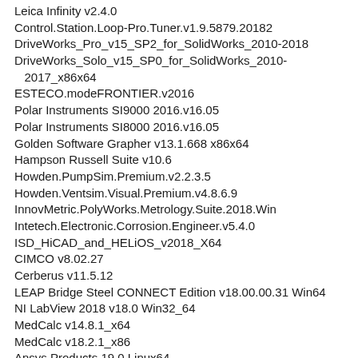Leica Infinity v2.4.0
Control.Station.Loop-Pro.Tuner.v1.9.5879.20182
DriveWorks_Pro_v15_SP2_for_SolidWorks_2010-2018
DriveWorks_Solo_v15_SP0_for_SolidWorks_2010-2017_x86x64
ESTECO.modeFRONTIER.v2016
Polar Instruments SI9000 2016.v16.05
Polar Instruments SI8000 2016.v16.05
Golden Software Grapher v13.1.668 x86x64
Hampson Russell Suite v10.6
Howden.PumpSim.Premium.v2.2.3.5
Howden.Ventsim.Visual.Premium.v4.8.6.9
InnovMetric.PolyWorks.Metrology.Suite.2018.Win
Intetech.Electronic.Corrosion.Engineer.v5.4.0
ISD_HiCAD_and_HELiOS_v2018_X64
CIMCO v8.02.27
Cerberus v11.5.12
LEAP Bridge Steel CONNECT Edition v18.00.00.31 Win64
NI LabView 2018 v18.0 Win32_64
MedCalc v14.8.1_x64
MedCalc v18.2.1_x86
Ansys.Products.19.0.Linux64
TomoPlus v5.9 linux
RISA 2D v16.01
RISA 3D v16.0.3